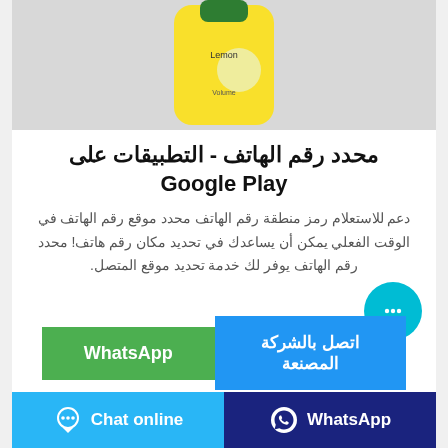[Figure (photo): Yellow lemon-scented cleaning product bottle with green cap on grey background]
محدد رقم الهاتف - التطبيقات على Google Play
دعم للاستعلام رمز منطقة رقم الهاتف محدد موقع رقم الهاتف في الوقت الفعلي يمكن أن يساعدك في تحديد مكان رقم هاتف! محدد رقم الهاتف يوفر لك خدمة تحديد موقع المتصل.
WhatsApp
اتصل بالشركة المصنعة
Chat online
WhatsApp